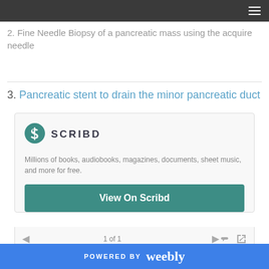Navigation bar with hamburger menu
2. Fine Needle Biopsy of a pancreatic mass using the acquire needle
3. Pancreatic stent to drain the minor pancreatic duct
[Figure (screenshot): Scribd embedded document viewer showing Scribd logo, tagline 'Millions of books, audiobooks, magazines, documents, sheet music, and more for free.' with a 'View On Scribd' button and pagination '1 of 1']
POWERED BY weebly